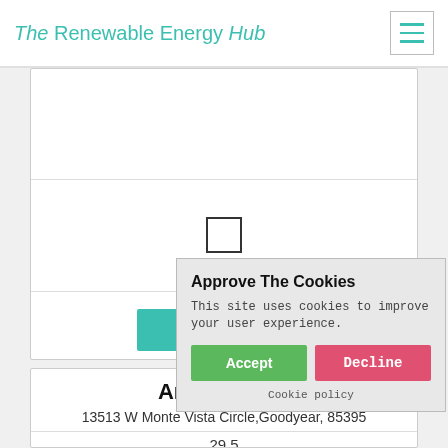The Renewable Energy Hub
[Figure (screenshot): Checkbox input element centered in a white card section]
Get a Quote
Argent Solar
13513 W Monte Vista Circle,Goodyear, 85395
29.5
[Figure (other): Five empty star rating icons]
[Figure (screenshot): Approve The Cookies popup dialog with Accept and Decline buttons]